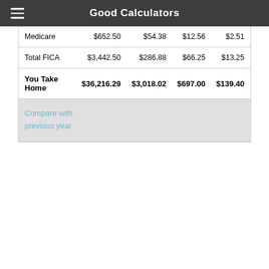Good Calculators
| Medicare | $652.50 | $54.38 | $12.56 | $2.51 |
| Total FICA | $3,442.50 | $286.88 | $66.25 | $13.25 |
| You Take Home | $36,216.29 | $3,018.02 | $697.00 | $139.40 |
| Compare with previous year |  |  |  |  |